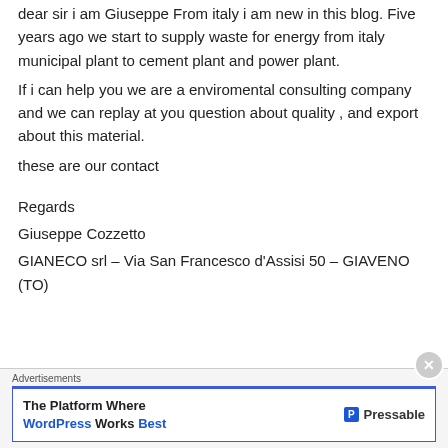dear sir i am Giuseppe From italy i am new in this blog. Five years ago we start to supply waste for energy from italy municipal plant to cement plant and power plant.
If i can help you we are a enviromental consulting company and we can replay at you question about quality , and export about this material.
these are our contact

Regards
Giuseppe Cozzetto
GIANECO srl – Via San Francesco d'Assisi 50 – GIAVENO (TO)
Advertisements
The Platform Where WordPress Works Best — Pressable